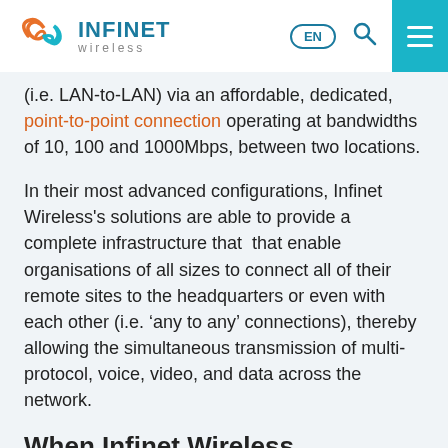INFINET wireless | EN (search) (menu)
(i.e. LAN-to-LAN) via an affordable, dedicated, point-to-point connection operating at bandwidths of 10, 100 and 1000Mbps, between two locations.
In their most advanced configurations, Infinet Wireless's solutions are able to provide a complete infrastructure that  that enable organisations of all sizes to connect all of their remote sites to the headquarters or even with each other (i.e. ‘any to any’ connections), thereby allowing the simultaneous transmission of multi-protocol, voice, video, and data across the network.
When Infinet Wireless